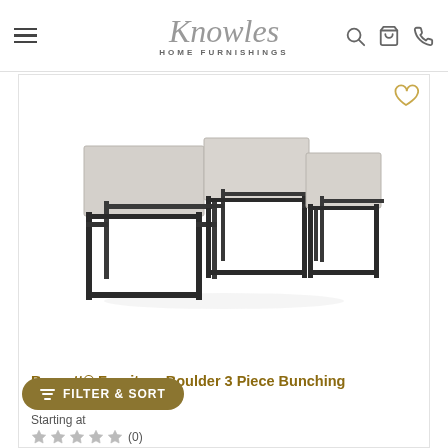Knowles Home Furnishings
[Figure (photo): Three-piece nesting/bunching coffee table set with dark metal frames and light grey tabletops (Bassett Furniture Boulder 3 Piece Bunching Set)]
Bassett® Furniture Boulder 3 Piece Bunching Set
(0)